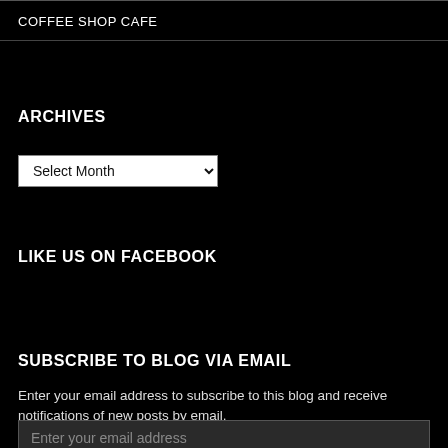COFFEE SHOP CAFE
ARCHIVES
Select Month
LIKE US ON FACEBOOK
SUBSCRIBE TO BLOG VIA EMAIL
Enter your email address to subscribe to this blog and receive notifications of new posts by email.
Enter your email address